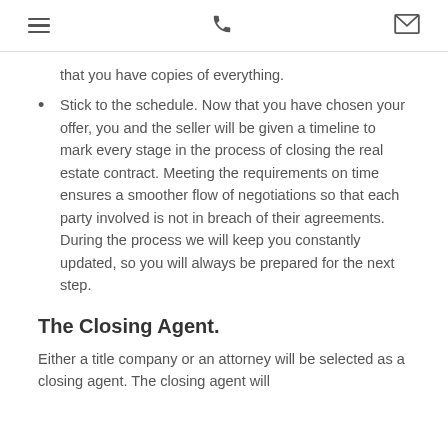[hamburger menu] [phone icon] [mail icon]
that you have copies of everything.
Stick to the schedule. Now that you have chosen your offer, you and the seller will be given a timeline to mark every stage in the process of closing the real estate contract. Meeting the requirements on time ensures a smoother flow of negotiations so that each party involved is not in breach of their agreements. During the process we will keep you constantly updated, so you will always be prepared for the next step.
The Closing Agent.
Either a title company or an attorney will be selected as a closing agent. The closing agent will